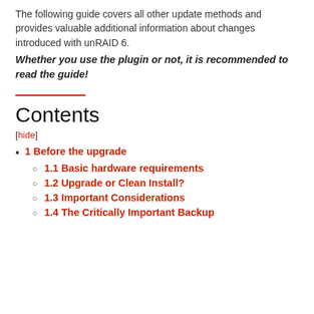The following guide covers all other update methods and provides valuable additional information about changes introduced with unRAID 6.
Whether you use the plugin or not, it is recommended to read the guide!
Contents
[hide]
1 Before the upgrade
1.1 Basic hardware requirements
1.2 Upgrade or Clean Install?
1.3 Important Considerations
1.4 The Critically Important Backup